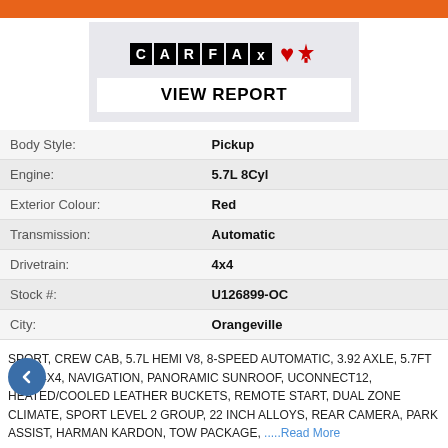[Figure (logo): CARFAX Canada logo with maple leaf and VIEW REPORT button]
| Field | Value |
| --- | --- |
| Body Style: | Pickup |
| Engine: | 5.7L 8Cyl |
| Exterior Colour: | Red |
| Transmission: | Automatic |
| Drivetrain: | 4x4 |
| Stock #: | U126899-OC |
| City: | Orangeville |
SPORT, CREW CAB, 5.7L HEMI V8, 8-SPEED AUTOMATIC, 3.92 AXLE, 5.7FT BOX, 4X4, NAVIGATION, PANORAMIC SUNROOF, UCONNECT12, HEATED/COOLED LEATHER BUCKETS, REMOTE START, DUAL ZONE CLIMATE, SPORT LEVEL 2 GROUP, 22 INCH ALLOYS, REAR CAMERA, PARK ASSIST, HARMAN KARDON, TOW PACKAGE, .....Read More